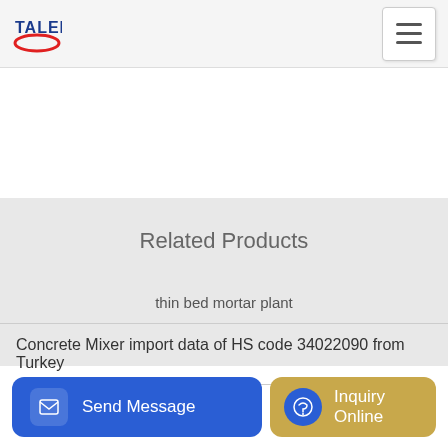TALENET
Related Products
thin bed mortar plant
Concrete Mixer import data of HS code 34022090 from Turkey
-whe
Send Message
Inquiry Online